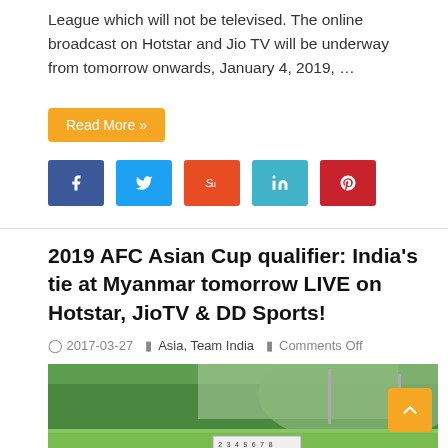League which will not be televised. The online broadcast on Hotstar and Jio TV will be underway from tomorrow onwards, January 4, 2019, …
Read More »
[Figure (other): Social media share buttons: Facebook, Twitter, StumbleUpon, LinkedIn, Pinterest]
2019 AFC Asian Cup qualifier: India's tie at Myanmar tomorrow LIVE on Hotstar, JioTV & DD Sports!
2017-03-27   Asia, Team India   Comments Off
[Figure (photo): Football players training on a grass field with a numbered scoreboard in the background and trees behind]